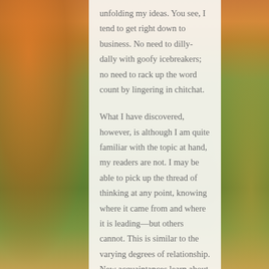unfolding my ideas. You see, I tend to get right down to business. No need to dilly-dally with goofy icebreakers; no need to rack up the word count by lingering in chitchat.

What I have discovered, however, is although I am quite familiar with the topic at hand, my readers are not. I may be able to pick up the thread of thinking at any point, knowing where it came from and where it is leading—but others cannot. This is similar to the varying degrees of relationship. New acquaintances learn about one another starting with the basics of life (work